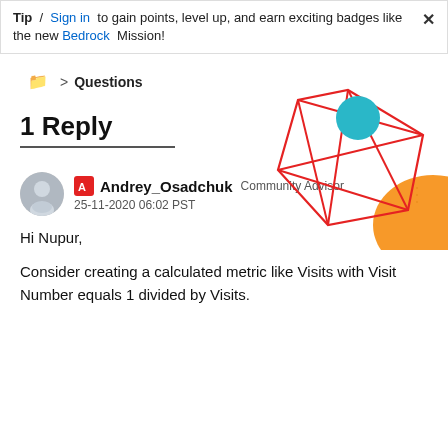Tip / Sign in to gain points, level up, and earn exciting badges like the new Bedrock Mission!
Questions
[Figure (illustration): Decorative geometric illustration with red wireframe cube/diamond shape, a teal/cyan circle, and orange semicircle.]
1 Reply
Andrey_Osadchuk Community Advisor
25-11-2020 06:02 PST
Hi Nupur,

Consider creating a calculated metric like Visits with Visit Number equals 1 divided by Visits.